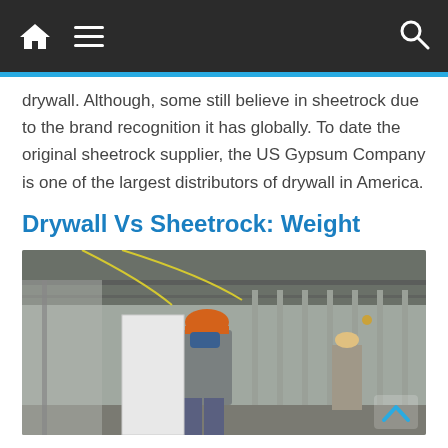Navigation bar with home, menu, and search icons
drywall. Although, some still believe in sheetrock due to the brand recognition it has globally. To date the original sheetrock supplier, the US Gypsum Company is one of the largest distributors of drywall in America.
Drywall Vs Sheetrock: Weight
[Figure (photo): Construction workers installing drywall sheets inside a large commercial building with metal stud framing. Worker in foreground wearing orange hard hat and blue face covering carries a large white drywall panel. Another worker visible in background. Industrial ceiling with exposed structure and yellow cables above.]